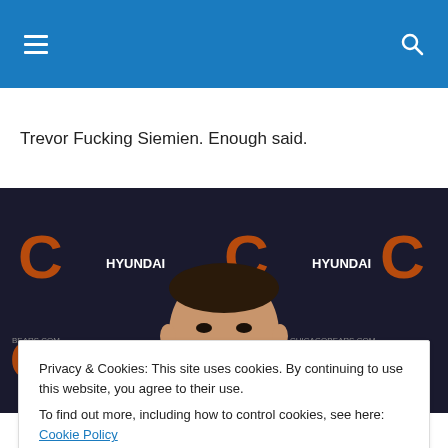Trevor Fucking Siemien. Enough said.
[Figure (photo): A man sits in front of a Chicago Bears press conference backdrop featuring the Bears logo and Hyundai sponsorship logos.]
Privacy & Cookies: This site uses cookies. By continuing to use this website, you agree to their use.
To find out more, including how to control cookies, see here: Cookie Policy
Wow. This was one of the very few games where